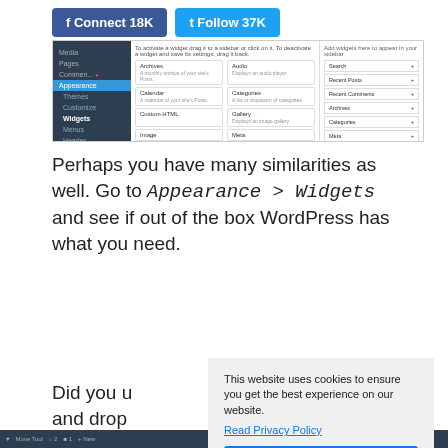[Figure (screenshot): WordPress admin Widgets page screenshot showing sidebar, available widgets list (Archives, Audio, Calendar, Categories, Custom HTML, Gallery, Image, Meta, etc.) and sidebar widget areas (Search, Recent Posts, Recent Comments, Archives, Categories, Meta)]
Perhaps you have many similarities as well. Go to Appearance > Widgets and see if out of the box WordPress has what you need.
Did you u... and drop... widget are... menus, in... to mentio...
[Figure (screenshot): Cookie consent overlay: 'This website uses cookies to ensure you get the best experience on our website. Read Privacy Policy' with Got it! button]
WordPress admin bottom bar